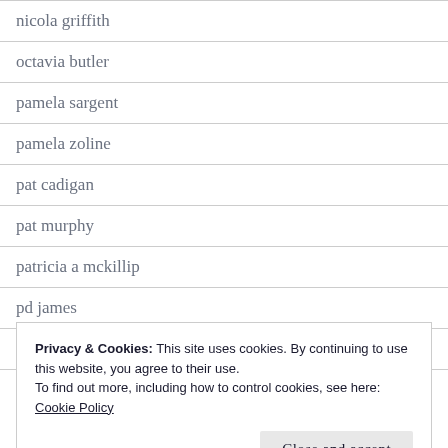nicola griffith
octavia butler
pamela sargent
pamela zoline
pat cadigan
pat murphy
patricia a mckillip
pd james
phyllis gotlieb
Privacy & Cookies: This site uses cookies. By continuing to use this website, you agree to their use.
To find out more, including how to control cookies, see here: Cookie Policy